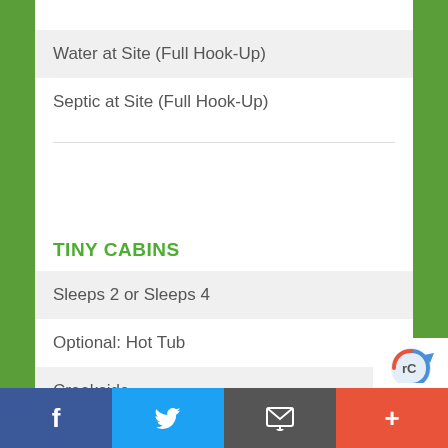Water at Site (Full Hook-Up)
Septic at Site (Full Hook-Up)
TINY CABINS
Sleeps 2 or Sleeps 4
Optional: Hot Tub
Creekside
Each has fire pit, grill and rocking chairs
Each equipped with mircrowave and mini refrigerato